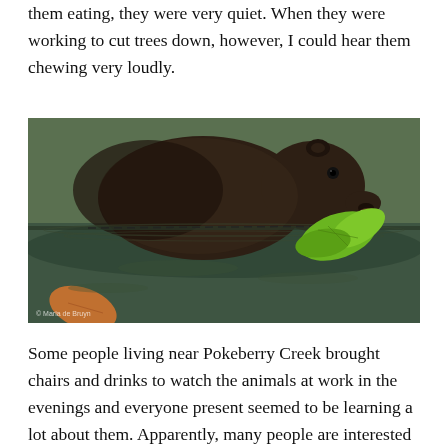them eating, they were very quiet. When they were working to cut trees down, however, I could hear them chewing very loudly.
[Figure (photo): A large beaver in water, holding green leaves in its mouth. The beaver has dark brown fur and is partially submerged. Photo credit: Maria de Bruyn.]
Some people living near Pokeberry Creek brought chairs and drinks to watch the animals at work in the evenings and everyone present seemed to be learning a lot about them. Apparently, many people are interested in beavers